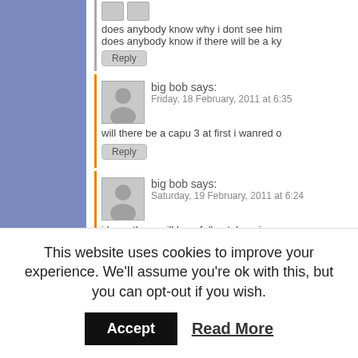does anybody know why i dont see him does anybody know if there will be a ky
Reply
big bob says: Friday, 18 February, 2011 at 6:35
will there be a capu 3 at first i wanred o
Reply
big bob says: Saturday, 19 February, 2011 at 6:24
i hope there will be a fullmetal panic sea
Reply
mephisto2k says: Sunday, 20 February, 2011 at
Untill we get official news theres o interest in this show.
This website uses cookies to improve your experience. We'll assume you're ok with this, but you can opt-out if you wish.
Accept
Read More